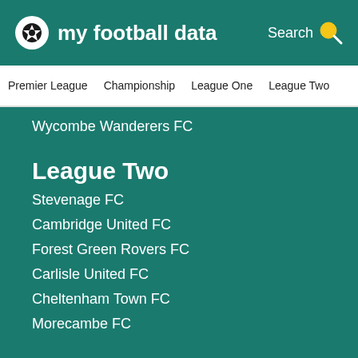my football data
Premier League | Championship | League One | League Two
Wycombe Wanderers FC
League Two
Stevenage FC
Cambridge United FC
Forest Green Rovers FC
Carlisle United FC
Cheltenham Town FC
Morecambe FC